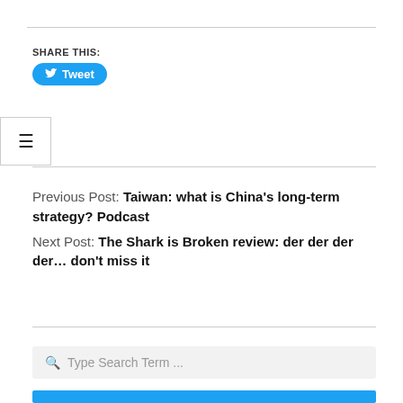SHARE THIS:
[Figure (other): Twitter Tweet button with bird icon]
[Figure (other): Hamburger menu icon (three horizontal lines) in a bordered box]
Previous Post: Taiwan: what is China’s long-term strategy? Podcast
Next Post: The Shark is Broken review: der der der der… don’t miss it
[Figure (other): Search input box with magnifying glass icon and placeholder text 'Type Search Term ...']